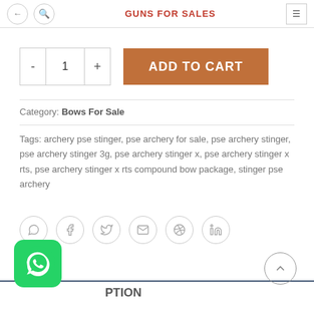GUNS FOR SALES
ADD TO CART
Category: Bows For Sale
Tags: archery pse stinger, pse archery for sale, pse archery stinger, pse archery stinger 3g, pse archery stinger x, pse archery stinger x rts, pse archery stinger x rts compound bow package, stinger pse archery
[Figure (other): Social share icons: WhatsApp, Facebook, Twitter, Email, Pinterest, LinkedIn]
DESCRIPTION